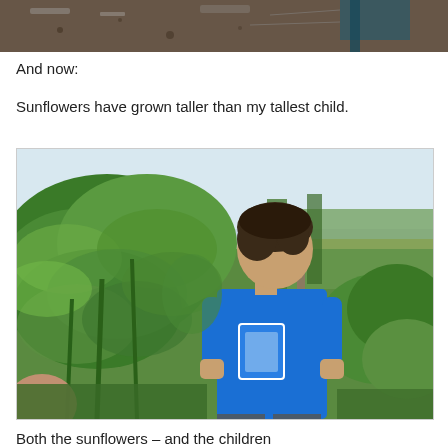[Figure (photo): Top portion of a photo showing disturbed soil/dirt with garden debris and wire fencing, cropped at the top of the page.]
And now:
Sunflowers have grown taller than my tallest child.
[Figure (photo): A teenage boy wearing a blue t-shirt stands next to large sunflower plants that are taller than he is, in a garden/field setting on a sunny day.]
Both the sunflowers – and the children